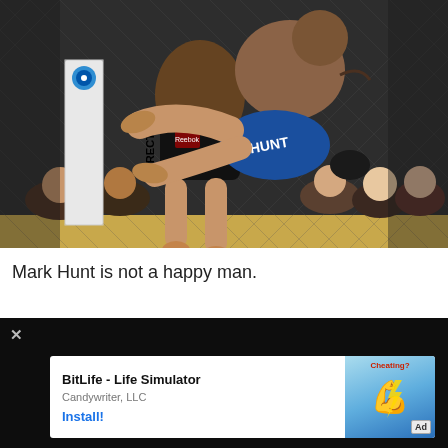[Figure (photo): MMA fight photo showing two fighters in a UFC octagon cage, one fighter (wearing blue shorts labeled 'HUNT') being lifted or tackled by another fighter in black shorts. A DIRECTV banner is visible on the cage. Audience members are visible in the background.]
Mark Hunt is not a happy man.
[Figure (screenshot): Mobile ad overlay on dark black background with X close button. Ad shows 'BitLife - Life Simulator' by 'Candywriter, LLC' with an Install button and colorful game artwork on the right side showing a flexing arm emoji and text 'Cheating?'. An 'Ad' badge is shown.]